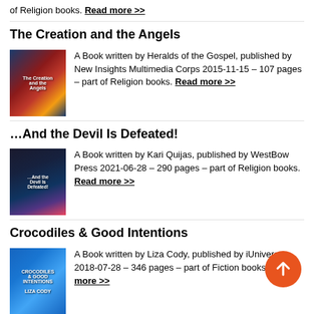of Religion books. Read more >>
The Creation and the Angels
[Figure (illustration): Book cover of The Creation and the Angels with abstract red and dark imagery]
A Book written by Heralds of the Gospel, published by New Insights Multimedia Corps 2015-11-15 – 107 pages – part of Religion books. Read more >>
…And the Devil Is Defeated!
[Figure (illustration): Book cover of …And the Devil Is Defeated! with dark stained glass imagery]
A Book written by Kari Quijas, published by WestBow Press 2021-06-28 – 290 pages – part of Religion books. Read more >>
Crocodiles & Good Intentions
[Figure (illustration): Book cover of Crocodiles & Good Intentions with blue background]
A Book written by Liza Cody, published by iUniverse 2018-07-28 – 346 pages – part of Fiction books. Read more >>
My Spiritual Awakening